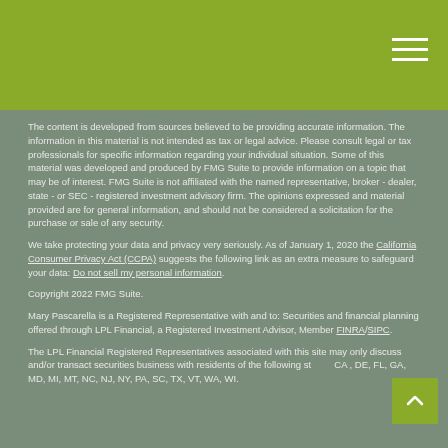The content is developed from sources believed to be providing accurate information. The information in this material is not intended as tax or legal advice. Please consult legal or tax professionals for specific information regarding your individual situation. Some of this material was developed and produced by FMG Suite to provide information on a topic that may be of interest. FMG Suite is not affiliated with the named representative, broker - dealer, state - or SEC - registered investment advisory firm. The opinions expressed and material provided are for general information, and should not be considered a solicitation for the purchase or sale of any security.
We take protecting your data and privacy very seriously. As of January 1, 2020 the California Consumer Privacy Act (CCPA) suggests the following link as an extra measure to safeguard your data: Do not sell my personal information.
Copyright 2022 FMG Suite.
Mary Pascarella is a Registered Representative with and to: Securities and financial planning offered through LPL Financial, a Registered Investment Advisor, Member FINRA/SIPC.
The LPL Financial Registered Representatives associated with this site may only discuss and/or transact securities business with residents of the following states: CA , DE, FL, GA, MD, MI, MT, NC, NJ, NY, PA, SC, TX, VT, WA, WI.